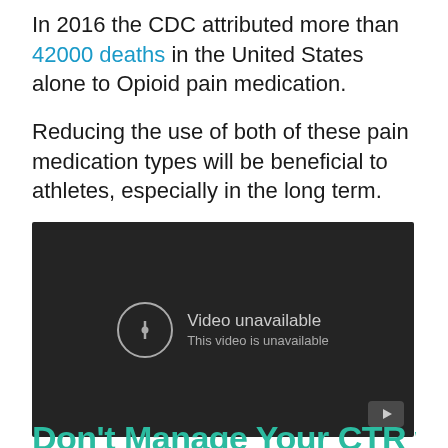In 2016 the CDC attributed more than 42000 deaths in the United States alone to Opioid pain medication.
Reducing the use of both of these pain medication types will be beneficial to athletes, especially in the long term.
[Figure (screenshot): Embedded video player showing 'Video unavailable. This video is unavailable.' message on a dark background with a YouTube icon in the bottom right corner.]
Don't Manage Your CTR with...